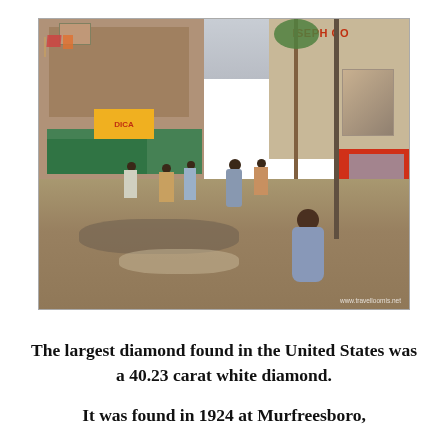[Figure (photo): Street scene in a developing country market area. Busy unpaved road with pedestrians, market stalls with green tarpaulins, multi-story buildings, a colorful bus/truck on the right, palm trees, power lines, and a sign reading 'JOSEPH CO'. A woman in a blue floral dress is prominent in the foreground. Watermark reads 'www.travelloomis.net'.]
The largest diamond found in the United States was a 40.23 carat white diamond.
It was found in 1924 at Murfreesboro,